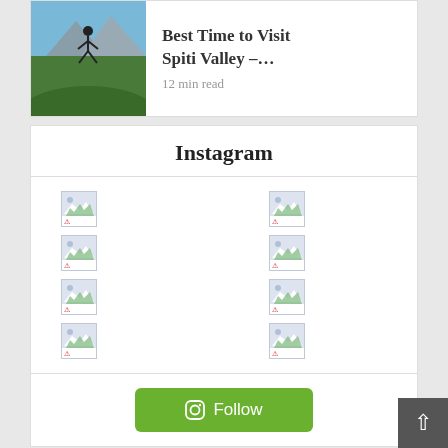[Figure (screenshot): Partially visible article card with a person jumping outdoors (Spiti Valley), title 'Best Time to Visit Spiti Valley – ...' and '12 min read']
Best Time to Visit Spiti Valley –...
12 min read
Instagram
[Figure (screenshot): Instagram photo grid with 8 broken image placeholders in two columns]
[Figure (screenshot): Green Follow button with Instagram camera icon]
YouTube
[Figure (screenshot): YouTube video thumbnail showing mountain scenery with JustWravel Rev... channel icon and play button]